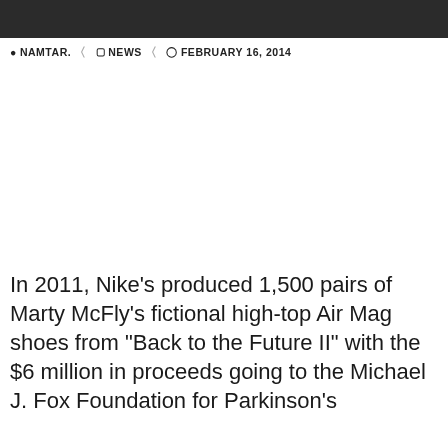NAMTAR.  NEWS  FEBRUARY 16, 2014
[Figure (photo): Large image placeholder area (white/blank) below the meta bar]
In 2011, Nike’s produced 1,500 pairs of Marty McFly’s fictional high-top Air Mag shoes from “Back to the Future II” with the $6 million in proceeds going to the Michael J. Fox Foundation for Parkinson’s Research. In 2015, Nike produced the “Back to the Future”